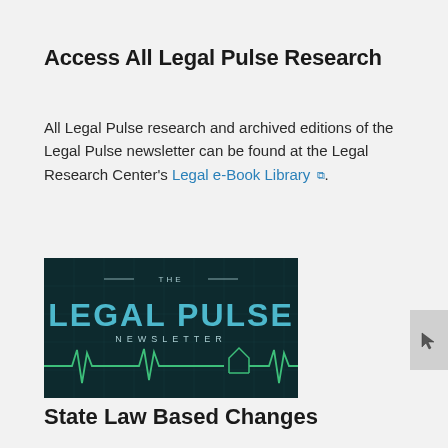Access All Legal Pulse Research
All Legal Pulse research and archived editions of the Legal Pulse newsletter can be found at the Legal Research Center's Legal e-Book Library.
[Figure (logo): The Legal Pulse Newsletter logo — dark teal/green background with ECG heartbeat line and house silhouette, text reading 'THE LEGAL PULSE NEWSLETTER']
State Law Based Changes